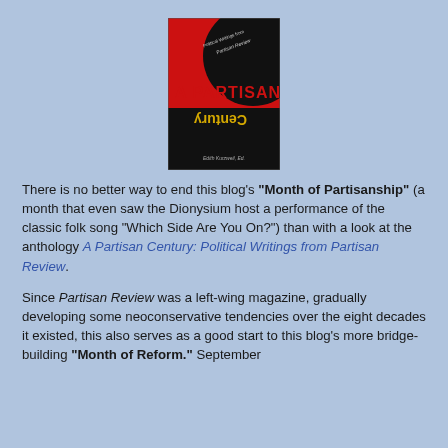[Figure (illustration): Book cover of 'A Partisan Century: Political Writings from Partisan Review'. Red and black design with large black circle, title text 'A Partisan Century' with 'Century' shown upside down in yellow/gold, and author name at bottom.]
There is no better way to end this blog's "Month of Partisanship" (a month that even saw the Dionysium host a performance of the classic folk song "Which Side Are You On?") than with a look at the anthology A Partisan Century: Political Writings from Partisan Review.
Since Partisan Review was a left-wing magazine, gradually developing some neoconservative tendencies over the eight decades it existed, this also serves as a good start to this blog's more bridge-building "Month of Reform". September